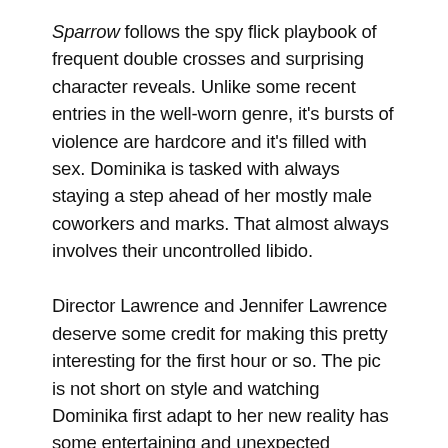Sparrow follows the spy flick playbook of frequent double crosses and surprising character reveals. Unlike some recent entries in the well-worn genre, it's bursts of violence are hardcore and it's filled with sex. Dominika is tasked with always staying a step ahead of her mostly male coworkers and marks. That almost always involves their uncontrolled libido.
Director Lawrence and Jennifer Lawrence deserve some credit for making this pretty interesting for the first hour or so. The pic is not short on style and watching Dominika first adapt to her new reality has some entertaining and unexpected pleasures at first.